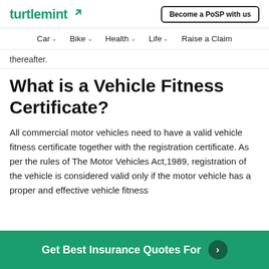turtlemint | Become a PoSP with us
Car | Bike | Health | Life | Raise a Claim
thereafter.
What is a Vehicle Fitness Certificate?
All commercial motor vehicles need to have a valid vehicle fitness certificate together with the registration certificate. As per the rules of The Motor Vehicles Act,1989, registration of the vehicle is considered valid only if the motor vehicle has a proper and effective vehicle fitness
Get Best Insurance Quotes For